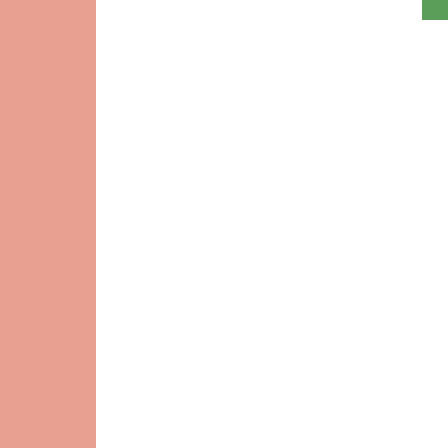[Figure (screenshot): Facebook Like button with '5 peop' text visible]
[Figure (screenshot): Facebook Share button]
Posted by Adriana
No comments:
Labels: southern p
Sunday, M
2016 Sout
I just couldn't res can only call him (Although he'll a "hua huas" - Chi